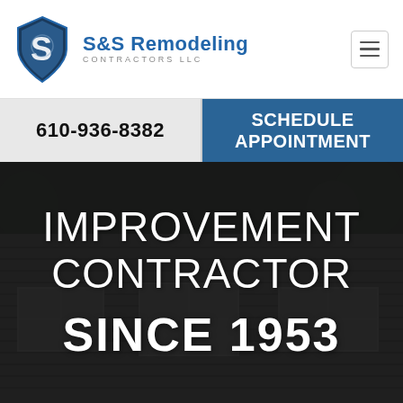[Figure (logo): S&S Remodeling Contractors LLC shield logo with blue and grey design, company name to the right]
610-936-8382
SCHEDULE APPOINTMENT
[Figure (photo): Dark semi-transparent overlay photo of a house with siding and windows]
IMPROVEMENT CONTRACTOR SINCE 1953